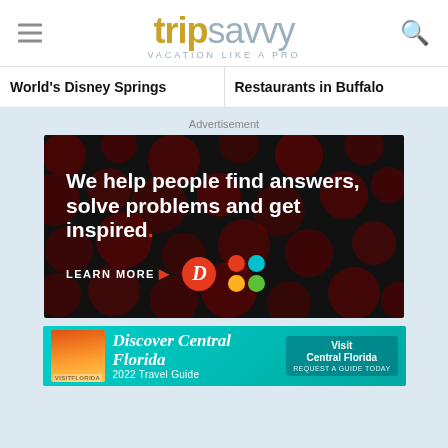tripsavvy VACATION LIKE A PRO
World's Disney Springs
Restaurants in Buffalo
Advertisement
[Figure (photo): Dark advertisement with polka dot background. Text reads: We help people find answers, solve problems and get inspired. LEARN MORE. Dotdash Meredith logos.]
[Figure (photo): Discover Central Florida 2022 Travel Guide banner advertisement with teal background and Visit Florida branding.]